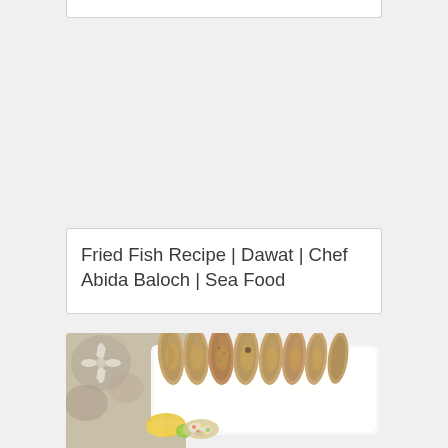[Figure (photo): Top portion of a card/widget with a border at the very top of the page]
Fried Fish Recipe | Dawat | Chef Abida Baloch | Sea Food
[Figure (photo): Photo of fried fish pieces arranged in a row on a white serving plate, with a side of yellow/orange garnish and fresh salsa, on a decorative tablecloth]